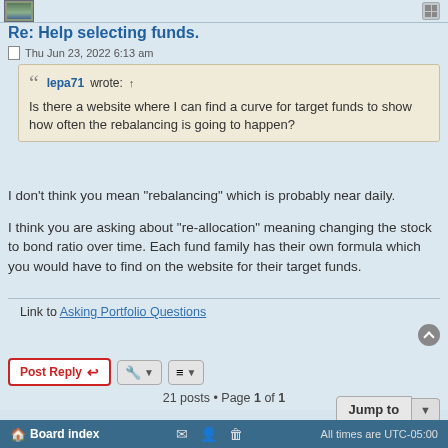Re: Help selecting funds.
Thu Jun 23, 2022 6:13 am
lepa71 wrote: ↑
Is there a website where I can find a curve for target funds to show how often the rebalancing is going to happen?
I don't think you mean "rebalancing" which is probably near daily.
I think you are asking about "re-allocation" meaning changing the stock to bond ratio over time. Each fund family has their own formula which you would have to find on the website for their target funds.
Link to Asking Portfolio Questions
Board index   All times are UTC-05:00